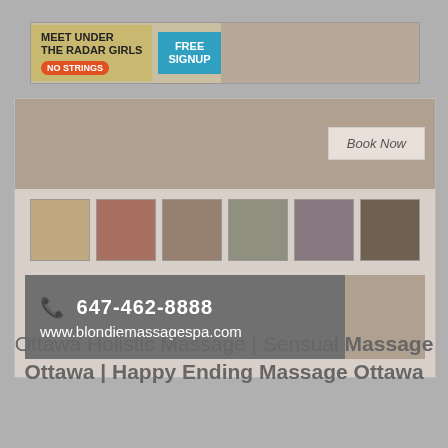[Figure (screenshot): Banner advertisement: MEET UNDER THE RADAR GIRLS NO STRINGS - FREE SIGNUP, with photo of woman]
[Figure (photo): Hero image of woman with Book Now button overlay]
[Figure (photo): Row of six thumbnail photos]
[Figure (screenshot): Contact banner showing phone number 647-462-8888 and website www.blondiemassagespa.com with woman photo]
Ottawa Holistic Massage | Sensual Massage Ottawa | Happy Ending Massage Ottawa